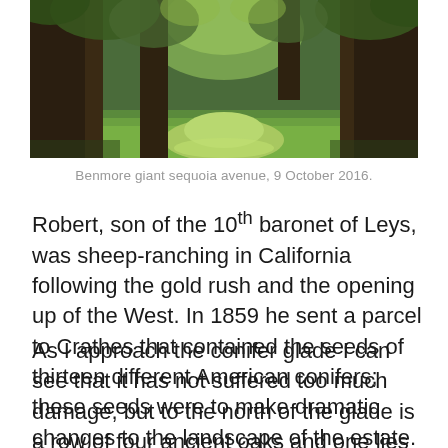[Figure (photo): Photograph of a forest path flanked by giant sequoia trees with green grass ground cover and sunlight filtering through the canopy, Benmore estate.]
Benmore giant sequoia avenue, 9 October 2016.
Robert, son of the 10th baronet of Leys, was sheep-ranching in California following the gold rush and the opening up of the West. In 1859 he sent a parcel to Crathes that contained the seeds of thirteen different American conifers; these seeds were to make dramatic changes to the landscape of the estate.
As I approach the conifer glade I can see that it has not suffered too much damage, but to the north of the glade is a row of four ancient oaks and one lies sprawled across the ground. These four oaks are of the species Quercus robur, the pedunculate or English oak – so called because it is commoner in southern parts of